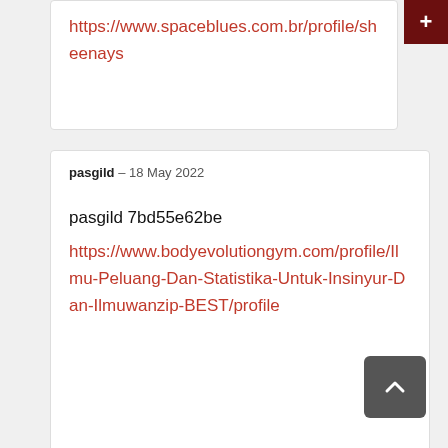https://www.spaceblues.com.br/profile/sheenays
pasgild – 18 May 2022
pasgild 7bd55e62be
https://www.bodyevolutiongym.com/profile/Ilmu-Peluang-Dan-Statistika-Untuk-Insinyur-Dan-Ilmuwanzip-BEST/profile
phelque – 18 May 2022
phelque 7bd55e62be
https://nrzilagh.wixsite.com/frommysight/profile/2